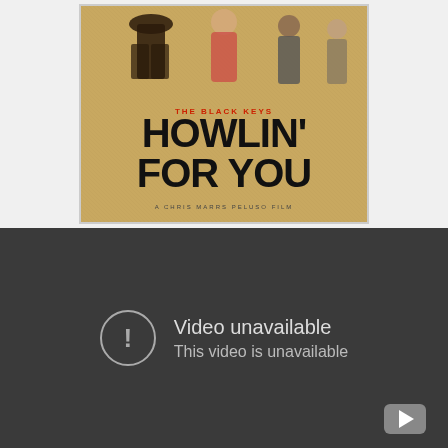[Figure (photo): Movie poster for 'The Black Keys: Howlin' For You' - a film poster showing multiple figures (band members and characters) against a sepia/desert background. Large bold black text reads 'HOWLIN' FOR YOU' with smaller text above reading 'THE BLACK KEYS' in red and subtitle 'A CHRIS MARRS PELUSO FILM' at the bottom.]
[Figure (screenshot): A YouTube video player showing a 'Video unavailable' error message on a dark grey background. A circle with exclamation mark icon is shown on the left, with text 'Video unavailable' and 'This video is unavailable' on the right. A YouTube play button icon is visible in the bottom right corner.]